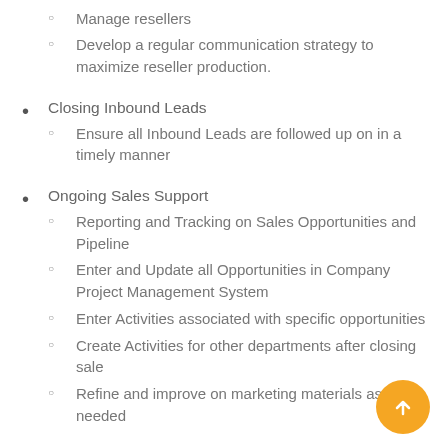resellers
Manage resellers
Develop a regular communication strategy to maximize reseller production.
Closing Inbound Leads
Ensure all Inbound Leads are followed up on in a timely manner
Ongoing Sales Support
Reporting and Tracking on Sales Opportunities and Pipeline
Enter and Update all Opportunities in Company Project Management System
Enter Activities associated with specific opportunities
Create Activities for other departments after closing sale
Refine and improve on marketing materials as needed